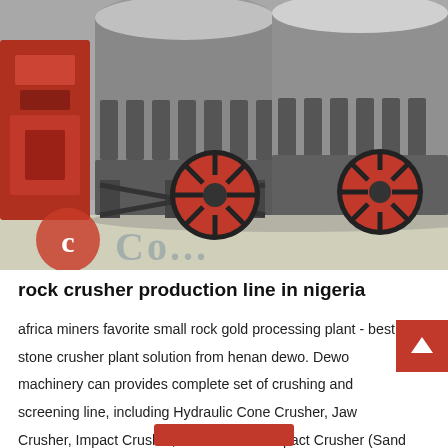[Figure (photo): Industrial rock crusher / cone crusher machines in a factory setting. Multiple large gray cone crushers with red flywheel pulleys visible. A red machine is visible on the left side. The floor is light concrete. A watermark logo with letter 'C' in a red circle overlays the bottom-left of the image.]
rock crusher production line in nigeria
africa miners favorite small rock gold processing plant - best stone crusher plant solution from henan dewo. Dewo machinery can provides complete set of crushing and screening line, including Hydraulic Cone Crusher, Jaw Crusher, Impact Crusher, Vertical Shaft Impact Crusher (Sand Making Machine), fixed and movable rock crushing line, but also provides turnkey project for